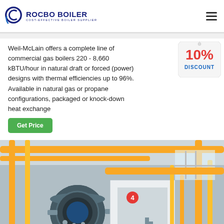[Figure (logo): Rocbo Boiler logo with circular arc icon and text 'ROCBO BOILER / COST-EFFECTIVE BOILER SUPPLIER']
Weil-McLain offers a complete line of commercial gas boilers 220 - 8,660 kBTU/hour in natural draft or forced (power) designs with thermal efficiencies up to 96%. Available in natural gas or propane configurations, packaged or knock-down heat exchange
[Figure (illustration): 10% DISCOUNT badge/sticker overlay on the top right of the text area]
[Figure (photo): Industrial boiler room with large blue cylindrical boiler and yellow pipes, industrial facility interior]